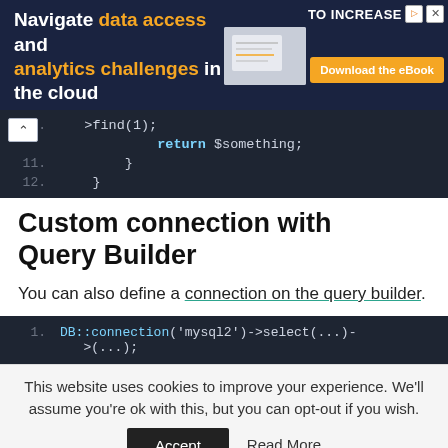[Figure (screenshot): Advertisement banner with dark navy background. Text reads 'Navigate data access and analytics challenges in the cloud' with orange highlighted words. Right side shows a book image and 'Download the eBook' orange button, with 'TO INCREASE' text.]
[Figure (screenshot): Dark code editor block showing PHP code with line numbers 10, 11, 12. Line 10: >find(1); return $something; Line 11: } Line 12: }. A collapse/fold button is visible on the left.]
Custom connection with Query Builder
You can also define a connection on the query builder.
[Figure (screenshot): Dark code editor block showing line 1: DB::connection('mysql2')->select(...)->(...);]
This website uses cookies to improve your experience. We'll assume you're ok with this, but you can opt-out if you wish.
Accept   Read More